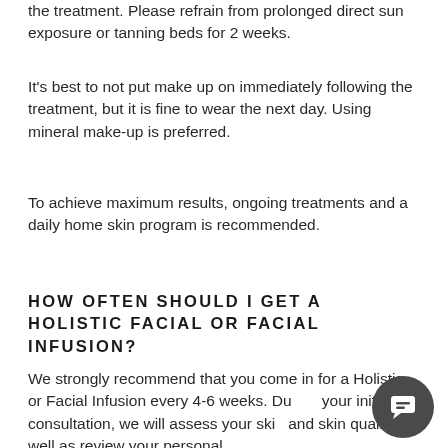the treatment. Please refrain from prolonged direct sun exposure or tanning beds for 2 weeks.
It's best to not put make up on immediately following the treatment, but it is fine to wear the next day. Using mineral make-up is preferred.
To achieve maximum results, ongoing treatments and a daily home skin program is recommended.
HOW OFTEN SHOULD I GET A HOLISTIC FACIAL OR FACIAL INFUSION?
We strongly recommend that you come in for a Holistic or Facial Infusion every 4-6 weeks. During your initial consultation, we will assess your skin and skin quality as well as review your personal